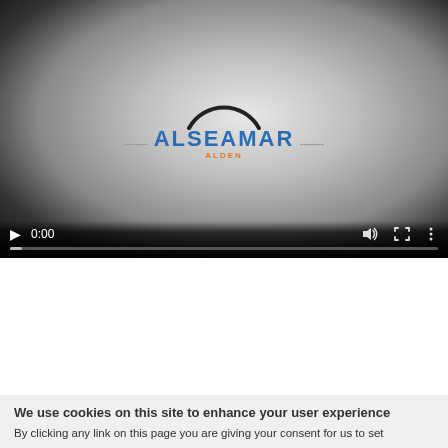[Figure (screenshot): Video player showing ALSEAMAR ALDEN logo with arch graphic, controls showing 0:00 timestamp, play button, volume, fullscreen, and menu icons, with progress bar at bottom]
[Figure (screenshot): Second video player thumbnail showing partial ALSEAMAR logo with arch graphic on gradient background]
We use cookies on this site to enhance your user experience
By clicking any link on this page you are giving your consent for us to set